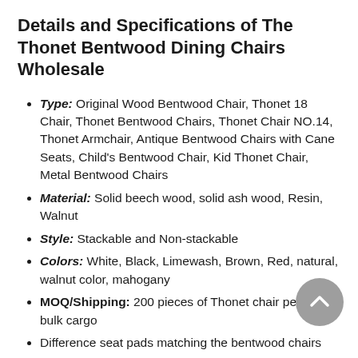Details and Specifications of The Thonet Bentwood Dining Chairs Wholesale
Type: Original Wood Bentwood Chair, Thonet 18 Chair, Thonet Bentwood Chairs, Thonet Chair NO.14, Thonet Armchair, Antique Bentwood Chairs with Cane Seats, Child's Bentwood Chair, Kid Thonet Chair, Metal Bentwood Chairs
Material: Solid beech wood, solid ash wood, Resin, Walnut
Style: Stackable and Non-stackable
Colors: White, Black, Limewash, Brown, Red, natural, walnut color, mahogany
MOQ/Shipping: 200 pieces of Thonet chair per (1) bulk cargo
Difference seat pads matching the bentwood chairs
Bentwood back will be never broken for normal using
Please do not forget we also have resin Thonet